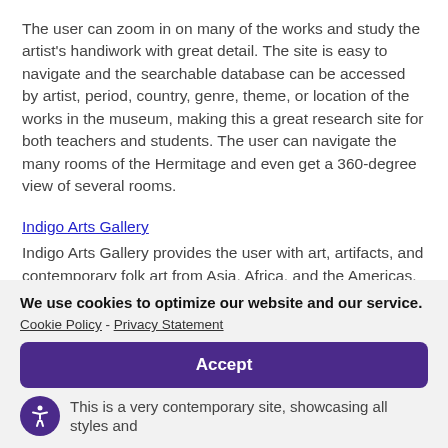The user can zoom in on many of the works and study the artist's handiwork with great detail. The site is easy to navigate and the searchable database can be accessed by artist, period, country, genre, theme, or location of the works in the museum, making this a great research site for both teachers and students. The user can navigate the many rooms of the Hermitage and even get a 360-degree view of several rooms.
Indigo Arts Gallery
Indigo Arts Gallery provides the user with art, artifacts, and contemporary folk art from Asia, Africa, and the Americas.
We use cookies to optimize our website and our service.
Cookie Policy - Privacy Statement
Accept
This is a very contemporary site, showcasing all styles and